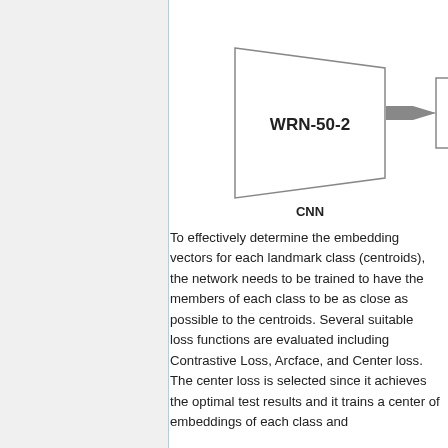[Figure (schematic): Neural network architecture diagram showing WRN-50-2 CNN block connected via arrow to Avg Pool block. CNN label below the WRN-50-2 trapezoid shape.]
To effectively determine the embedding vectors for each landmark class (centroids), the network needs to be trained to have the members of each class to be as close as possible to the centroids. Several suitable loss functions are evaluated including Contrastive Loss, Arcface, and Center loss. The center loss is selected since it achieves the optimal test results and it trains a center of embeddings of each class and